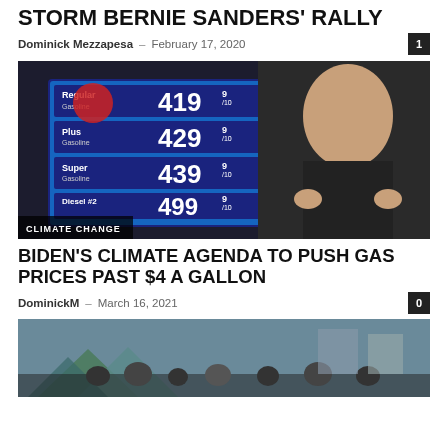STORM BERNIE SANDERS' RALLY
Dominick Mezzapesa – February 17, 2020
[Figure (photo): Gas price sign showing Regular 4.19 9/10, Plus 4.29 9/10, Super 4.39 9/10, Diesel #2 4.99 9/10, overlaid with image of Joe Biden giving thumbs up, with CLIMATE CHANGE label]
BIDEN'S CLIMATE AGENDA TO PUSH GAS PRICES PAST $4 A GALLON
DominickM – March 16, 2021
[Figure (photo): Outdoor scene with tents and crowds of people, appears to be a homeless encampment]